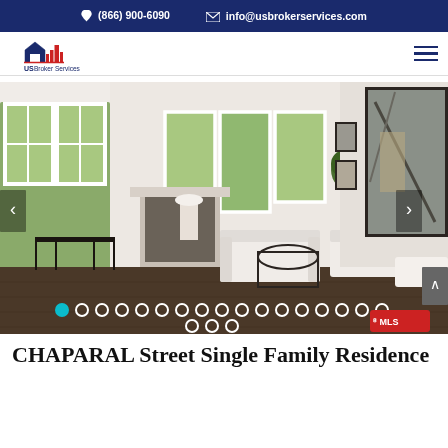(866) 900-6090  info@usbrokerservices.com
[Figure (logo): US Broker Services logo with house icon and city skyline silhouette in blue and red]
[Figure (photo): Interior living room photo of a bright, modern, open-plan living space with white sofas, dark wood floors, large windows, fireplace, and abstract wall art]
CHAPARAL Street Single Family Residence